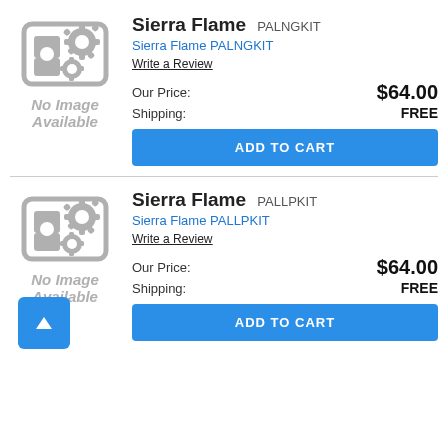[Figure (illustration): No Image Available placeholder icon with gears, for Sierra Flame PALNGKIT]
Sierra Flame PALNGKIT
Sierra Flame PALNGKIT
Write a Review
Our Price: $64.00
Shipping: FREE
ADD TO CART
[Figure (illustration): No Image Available placeholder icon with gears, for Sierra Flame PALLPKIT]
Sierra Flame PALLPKIT
Sierra Flame PALLPKIT
Write a Review
Our Price: $64.00
Shipping: FREE
ADD TO CART